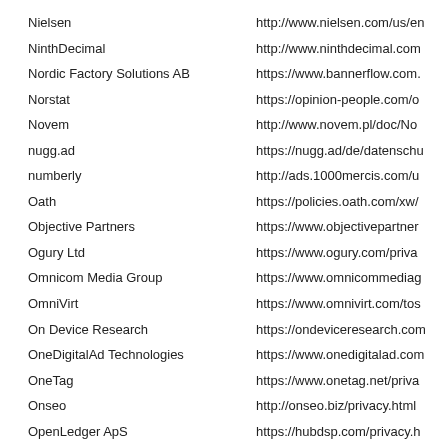Nielsen	http://www.nielsen.com/us/en
NinthDecimal	http://www.ninthdecimal.com
Nordic Factory Solutions AB	https://www.bannerflow.com
Norstat	https://opinion-people.com/d
Novem	http://www.novem.pl/doc/No
nugg.ad	https://nugg.ad/de/datenschu
numberly	http://ads.1000mercis.com/u
Oath	https://policies.oath.com/xw/
Objective Partners	https://www.objectivepartner
Ogury Ltd	https://www.ogury.com/priva
Omnicom Media Group	https://www.omnicommediag
OmniVirt	https://www.omnivirt.com/tos
On Device Research	https://ondeviceresearch.com
OneDigitalAd Technologies	https://www.onedigitalad.com
OneTag	https://www.onetag.net/priva
Onseo	http://onseo.biz/privacy.html
OpenLedger ApS	https://hubdsp.com/privacy.h
OpenSlate	https://www.openslate.com/g
OpenX Technologies	https://www.openx.com/legal